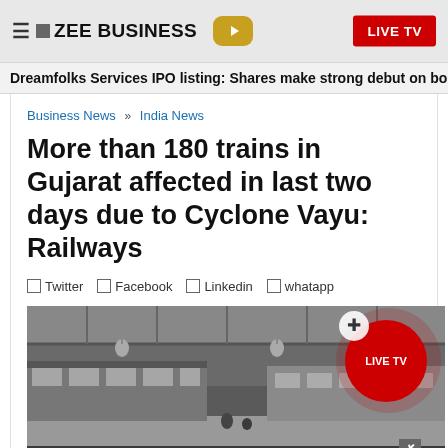ZEE BUSINESS | LIVE TV
Dreamfolks Services IPO listing: Shares make strong debut on bo
Business News » India News
More than 180 trains in Gujarat affected in last two days due to Cyclone Vayu: Railways
Twitter  Facebook  Linkedin  whatapp
[Figure (photo): Train station interior, black and white/grayscale image showing train platforms and overhead structure]